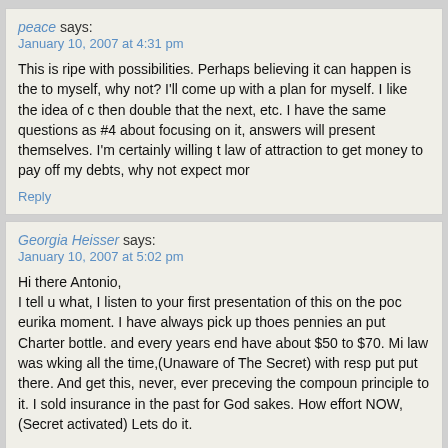peace says: January 10, 2007 at 4:31 pm
This is ripe with possibilities. Perhaps believing it can happen is the to myself, why not? I'll come up with a plan for myself. I like the idea of c then double that the next, etc. I have the same questions as #4 about focusing on it, answers will present themselves. I'm certainly willing t law of attraction to get money to pay off my debts, why not expect mor
Reply
Georgia Heisser says: January 10, 2007 at 5:02 pm
Hi there Antonio, I tell u what, I listen to your first presentation of this on the poc eurika moment. I have always pick up thoes pennies an put Charter bottle. and every years end have about $50 to $70. Mi law was wking all the time,(Unaware of The Secret) with resp put put there. And get this, never, ever preceving the compoun principle to it. I sold insurance in the past for God sakes. How effort NOW,(Secret activated) Lets do it.
Cheeeeeck Tenia Posts PLEASE watch The S